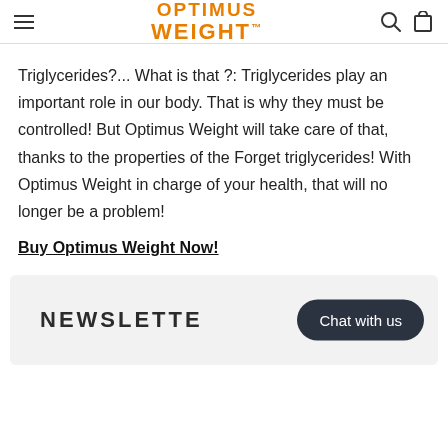OPTIMUS WEIGHT™
Triglycerides?... What is that ?: Triglycerides play an important role in our body. That is why they must be controlled! But Optimus Weight will take care of that, thanks to the properties of the Forget triglycerides! With Optimus Weight in charge of your health, that will no longer be a problem!
Buy Optimus Weight Now!
NEWSLETTER